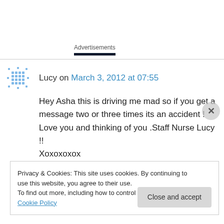Advertisements
Lucy on March 3, 2012 at 07:55
Hey Asha this is driving me mad so if you get a message two or three times its an accident ! Love you and thinking of you .Staff Nurse Lucy !! Xoxoxoxox
Privacy & Cookies: This site uses cookies. By continuing to use this website, you agree to their use.
To find out more, including how to control cookies, see here: Cookie Policy
Close and accept